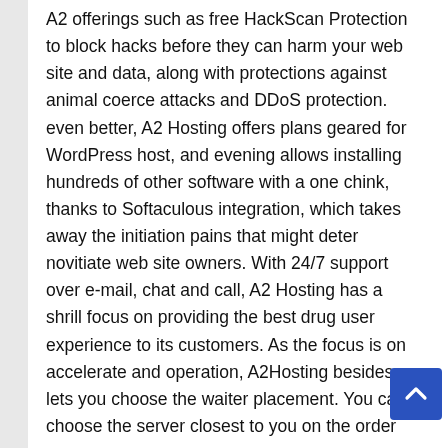A2 offerings such as free HackScan Protection to block hacks before they can harm your web site and data, along with protections against animal coerce attacks and DDoS protection. even better, A2 Hosting offers plans geared for WordPress host, and evening allows installing hundreds of other software with a one chink, thanks to Softaculous integration, which takes away the initiation pains that might deter novitiate web site owners. With 24/7 support over e-mail, chat and call, A2 Hosting has a shrill focus on providing the best drug user experience to its customers. As the focus is on accelerate and operation, A2Hosting besides lets you choose the waiter placement. You can choose the server closest to you on the order